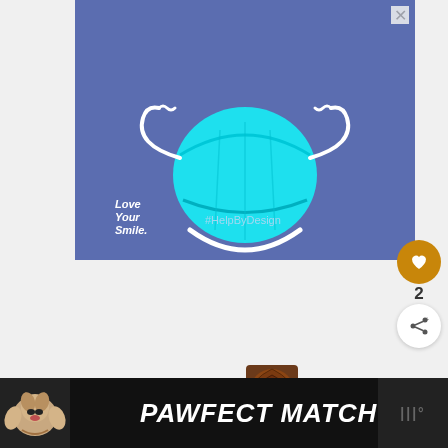[Figure (illustration): Advertisement banner with blue/purple background showing a cyan surgical face mask illustration styled as a smiling character with arms raised. Text reads 'Love Your Smile.' and '#HelpByDesign'. Has an X close button in top right.]
[Figure (infographic): Social interaction sidebar showing a gold heart/like button, the number 2, and a share button (arrow icon).]
[Figure (photo): Thumbnail image showing a spiral staircase from above, accompanying a 'WHAT'S NEXT' recommendation widget with text 'How To Prevent...']
WHAT'S NEXT → How To Prevent...
[Figure (illustration): Bottom advertisement banner on dark background showing a dog (terrier) with 'PAWFECT MATCH' text in large white italic letters.]